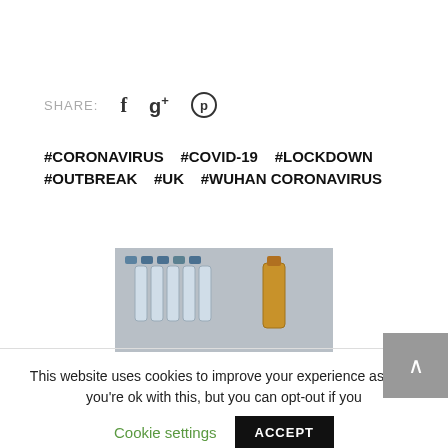SHARE:  f  g+  ⊕
#CORONAVIRUS   #COVID-19   #LOCKDOWN
#OUTBREAK   #UK   #WUHAN CORONAVIRUS
[Figure (photo): Vials, syringes and medical supplies on a metallic surface, related to COVID-19 vaccines or treatments]
PREVIOUS POST
This website uses cookies to improve your experience assume you're ok with this, but you can opt-out if you
Cookie settings   ACCEPT